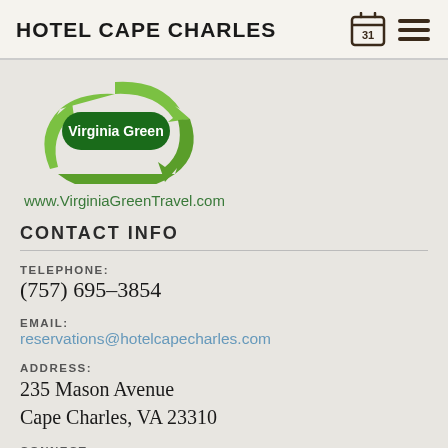HOTEL CAPE CHARLES
[Figure (logo): Virginia Green circular arrow logo with text 'Virginia Green' inside a dark green rounded rectangle badge, surrounded by green recycling arrows]
www.VirginiaGreenTravel.com
CONTACT INFO
TELEPHONE:
(757) 695–3854
EMAIL:
reservations@hotelcapecharles.com
ADDRESS:
235 Mason Avenue
Cape Charles, VA 23310
CONNECT: